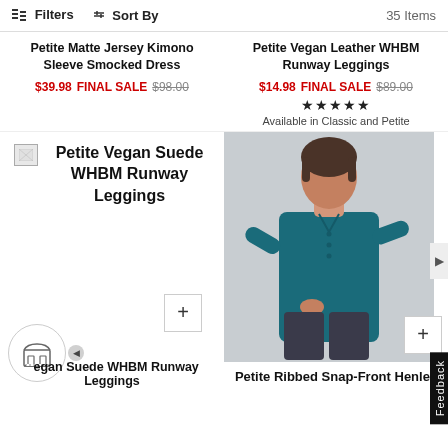Filters  Sort By  35 Items
Petite Matte Jersey Kimono Sleeve Smocked Dress
$39.98 FINAL SALE $98.00
Petite Vegan Leather WHBM Runway Leggings
$14.98 FINAL SALE $89.00
★★★★★
Available in Classic and Petite
[Figure (photo): Broken image placeholder for Petite Vegan Suede WHBM Runway Leggings]
Petite Vegan Suede WHBM Runway Leggings
[Figure (photo): Woman wearing teal ribbed snap-front henley top with dark pants, seated pose against gray background]
Petite Vegan Suede WHBM Runway Leggings
Petite Ribbed Snap-Front Henley